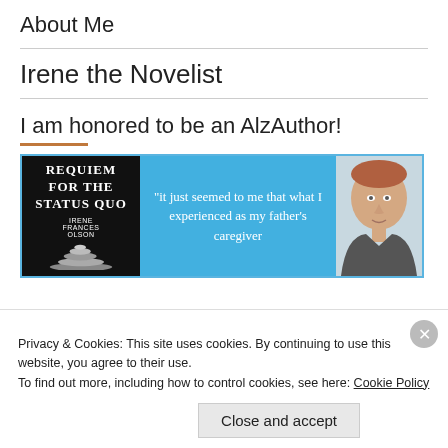About Me
Irene the Novelist
I am honored to be an AlzAuthor!
[Figure (illustration): Book banner for 'Requiem for the Status Quo' by Irene Frances Olson. Blue background with handwritten-style quote 'It just seemed to me that what I experienced as my father's caregiver' and a photo of the author.]
Privacy & Cookies: This site uses cookies. By continuing to use this website, you agree to their use.
To find out more, including how to control cookies, see here: Cookie Policy
Close and accept